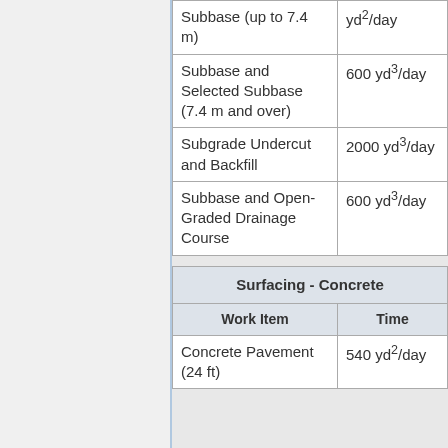| Work Item | Time |
| --- | --- |
| Subbase (up to 7.4 m) | yd²/day |
| Subbase and Selected Subbase (7.4 m and over) | 600 yd³/day |
| Subgrade Undercut and Backfill | 2000 yd³/day |
| Subbase and Open-Graded Drainage Course | 600 yd³/day |
| Surfacing - Concrete |
| --- |
| Work Item | Time |
| Concrete Pavement (24 ft) | 540 yd²/day |